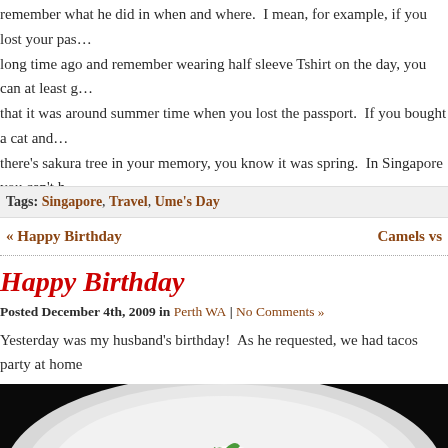remember what he did in when and where.  I mean, for example, if you lost your pas... long time ago and remember wearing half sleeve Tshirt on the day, you can at least g... that it was around summer time when you lost the passport.  If you bought a cat and... there's sakura tree in your memory, you know it was spring.  In Singapore you can't h... such sense of time, because there is nothing to compare to.  Umm I see..  I don't thin... will like living in a place which has only one season.
Tags: Singapore, Travel, Ume's Day
« Happy Birthday    Camels vs
Happy Birthday
Posted December 4th, 2009 in Perth WA | No Comments »
Yesterday was my husband's birthday!  As he requested, we had tacos party at home
[Figure (photo): Photo of a taco on a white plate with sour cream, tomatoes, and green herb garnish on a dark background]